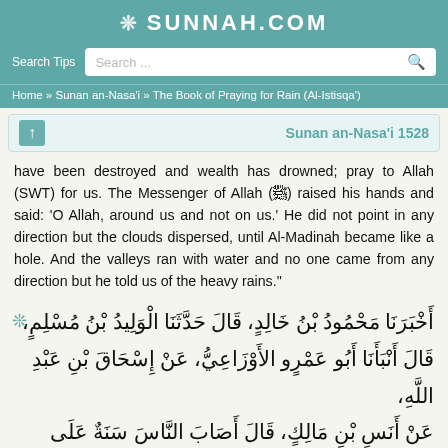SUNNAH.COM
Search Tips  Search ...
Home » Sunan an-Nasa'i » The Book of Praying for Rain (Al-Istisqa')
Sunan an-Nasa'i 1528
have been destroyed and wealth has drowned; pray to Allah (SWT) for us. The Messenger of Allah (ﷺ) raised his hands and said: 'O Allah, around us and not on us.' He did not point in any direction but the clouds dispersed, until Al-Madinah became like a hole. And the valleys ran with water and no one came from any direction but he told us of the heavy rains."
أَخْبَرَنَا مَحْمُودُ بْنُ خَالِدٍ، قَالَ حَدَّثَنَا الْوَلِيدُ بْنُ مُسْلِمٍ، قَالَ أَنْبَأَنَا أَبُو عَمْرٍو الأَوْزَاعِيُّ، عَنْ إِسْحَاقَ بْنِ عَبْدِ اللَّهِ، عَنْ أَنَسِ بْنِ مَالِكٍ، قَالَ أَصَابَ النَّاسَ سَنَةٌ عَلَى عَهْد